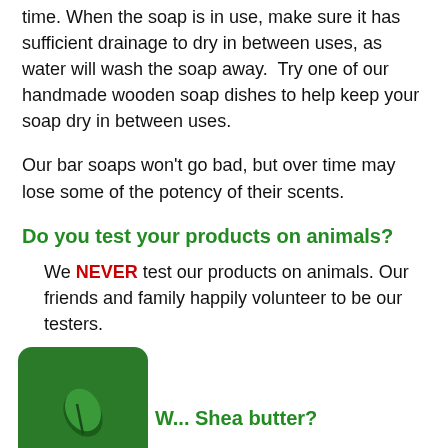time. When the soap is in use, make sure it has sufficient drainage to dry in between uses, as water will wash the soap away. Try one of our handmade wooden soap dishes to help keep your soap dry in between uses.
Our bar soaps won't go bad, but over time may lose some of the potency of their scents.
Do you test your products on animals?
We NEVER test our products on animals. Our friends and family happily volunteer to be our testers.
[Figure (logo): Green rounded square logo with a leaf icon]
W... Shea butter?
Shea butter is extracted from the nut of the...